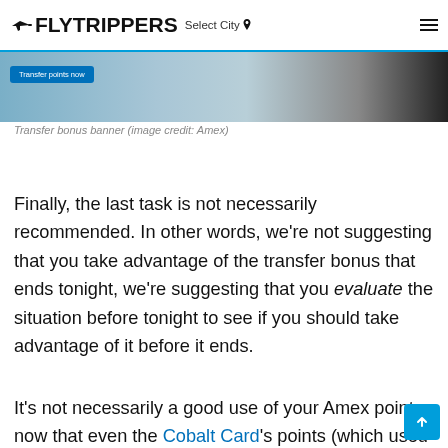FLYTRIPPERS Select City
[Figure (photo): Transfer bonus banner image with a blue Transfer points now button on the left, and a cityscape/bridge in the background (image credit: Amex)]
Transfer bonus banner (image credit: Amex)
Finally, the last task is not necessarily recommended. In other words, we're not suggesting that you take advantage of the transfer bonus that ends tonight, we're suggesting that you evaluate the situation before tonight to see if you should take advantage of it before it ends.
It's not necessarily a good use of your Amex points now that even the Cobalt Card's points (which used